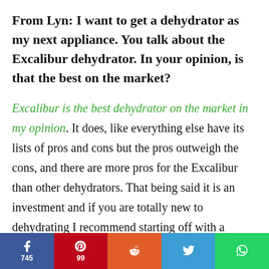From Lyn: I want to get a dehydrator as my next appliance. You talk about the Excalibur dehydrator. In your opinion, is that the best on the market?
Excalibur is the best dehydrator on the market in my opinion. It does, like everything else have its lists of pros and cons but the pros outweigh the cons, and there are more pros for the Excalibur than other dehydrators. That being said it is an investment and if you are totally new to dehydrating I recommend starting off with a
f 745 | p 99 | reddit | twitter | whatsapp